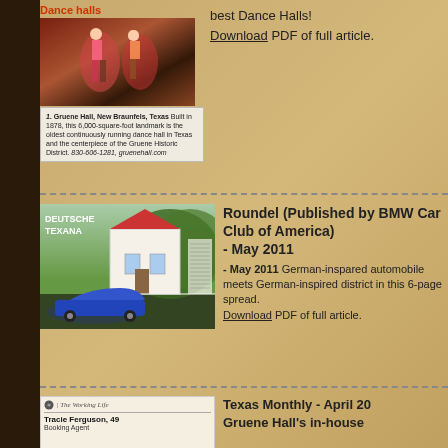[Figure (photo): Dance halls magazine cover thumbnail showing dancers]
Dance halls
1. Gruene Hall, New Braunfels, Texas Built in 1878, this 6,000-square-foot landmark is the oldest continuously running dance hall in Texas and the centerpiece of the Gruene Historic District. 830-606-1281, gruenehall.com
best Dance Halls! Download PDF of full article.
[Figure (photo): Deutsche Texana magazine cover showing BMW convertible in front of Victorian house]
Roundel (Published by BMW Car Club of America) - May 2011 German-inspired automobile meets German-inspired district in this 6-page spread. Download PDF of full article.
[Figure (photo): The Working Life article thumbnail showing Tracie Ferguson, 49, Booking Agent]
Texas Monthly - April 20 Gruene Hall's in-house